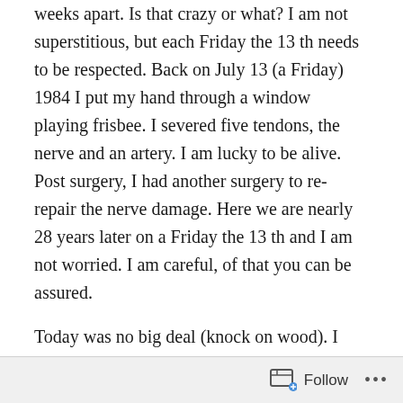weeks apart.  Is that crazy or what?  I am not superstitious, but each Friday the 13 th needs to be respected. Back on July 13 (a Friday) 1984 I put my hand through a window playing frisbee. I severed five tendons, the nerve and  an artery. I am lucky to be alive.  Post surgery, I had another surgery to re-repair the nerve damage. Here we are nearly 28 years later on a Friday the 13 th and I am not worried. I am careful, of that you can be assured.
Today was no big deal (knock on wood). I worked from home. I did my own stuff and helped out where I felt like helping out. It was a boring day. My DW was off all day. We enjoyed having breakfast, lunch and going out for dinner together. She has another three-day weekend next week. We are trying to figure out where we might go away
Follow